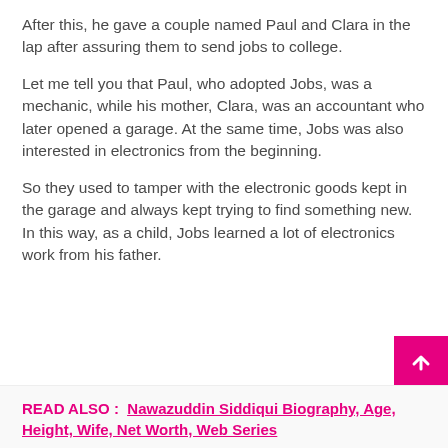After this, he gave a couple named Paul and Clara in the lap after assuring them to send jobs to college.
Let me tell you that Paul, who adopted Jobs, was a mechanic, while his mother, Clara, was an accountant who later opened a garage. At the same time, Jobs was also interested in electronics from the beginning.
So they used to tamper with the electronic goods kept in the garage and always kept trying to find something new. In this way, as a child, Jobs learned a lot of electronics work from his father.
READ ALSO: Nawazuddin Siddiqui Biography, Age, Height, Wife, Net Worth, Web Series